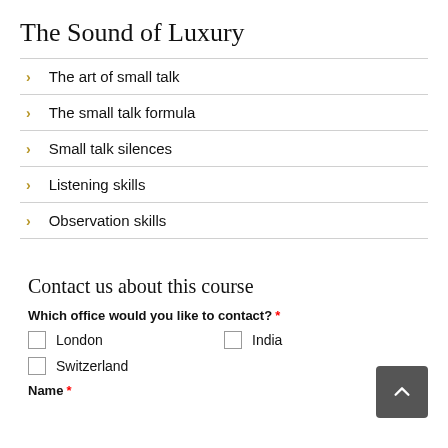The Sound of Luxury
The art of small talk
The small talk formula
Small talk silences
Listening skills
Observation skills
Contact us about this course
Which office would you like to contact? *
London
India
Switzerland
Name *